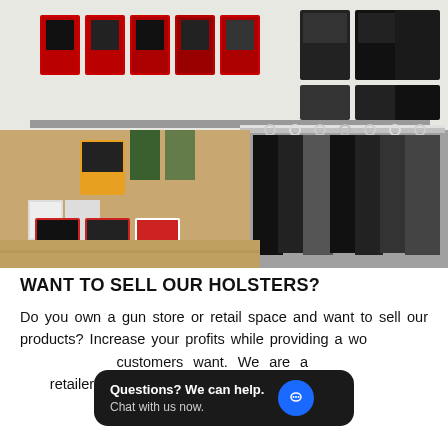[Figure (photo): Interior of a gun/retail store showing clothing rack with black garments on hangers and product displays on wall shelving with red packaged items]
WANT TO SELL OUR HOLSTERS?
Do you own a gun store or retail space and want to sell our products? Increase your profits while providing a wo[rld class product your] customers want. We are a[vailable to speak with] retailers to discuss our offerings.